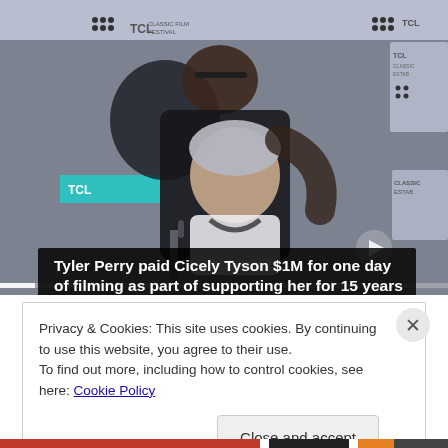[Figure (photo): Photo of two people embracing at a TCL Classic Film Festival event. One person wearing glasses hugs another smiling person with gray hair at a podium with microphone. TCL branding visible in background. Video player with progress bar overlay.]
Tyler Perry paid Cicely Tyson $1M for one day of filming as part of supporting her for 15 years
Privacy & Cookies: This site uses cookies. By continuing to use this website, you agree to their use.
To find out more, including how to control cookies, see here: Cookie Policy
Close and accept